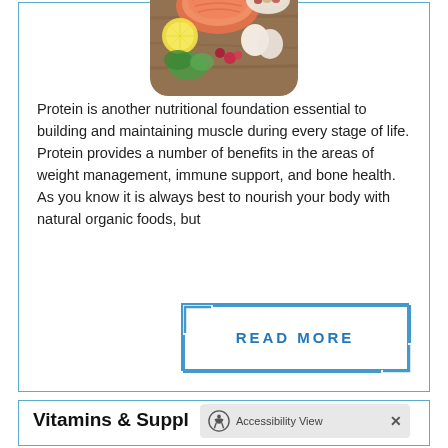[Figure (photo): Food photo showing salmon fillet, eggs, red chili peppers, lemon slices, herbs, and a bowl of beans/legumes arranged on a wooden surface, displayed in a rounded-corner square format]
Protein is another nutritional foundation essential to building and maintaining muscle during every stage of life. Protein provides a number of benefits in the areas of weight management, immune support, and bone health. As you know it is always best to nourish your body with natural organic foods, but
READ MORE
Vitamins & Suppl
Accessibility View ×